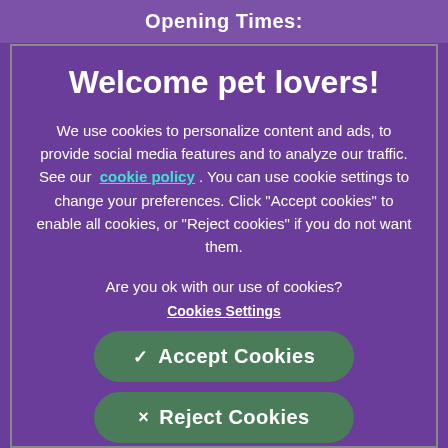Opening Times:
Welcome pet lovers!
We use cookies to personalize content and ads, to provide social media features and to analyze our traffic. See our cookie policy. You can use cookie settings to change your preferences. Click "Accept cookies" to enable all cookies, or "Reject cookies" if you do not want them.
Are you ok with our use of cookies?
Cookies Settings
✓  Accept Cookies
×  Reject Cookies